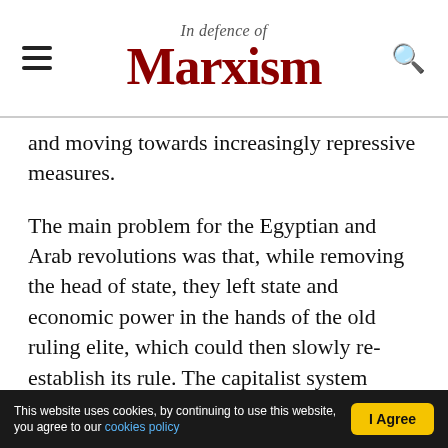In defence of Marxism
and moving towards increasingly repressive measures.
The main problem for the Egyptian and Arab revolutions was that, while removing the head of state, they left state and economic power in the hands of the old ruling elite, which could then slowly re-establish its rule. The capitalist system remained intact, and through it, all the ills of capitalism, which have led to so much suffering for the masses.
Nevertheless, nothing has been solved from the
This website uses cookies, by continuing to use this website, you agree to our cookies policy | I Agree